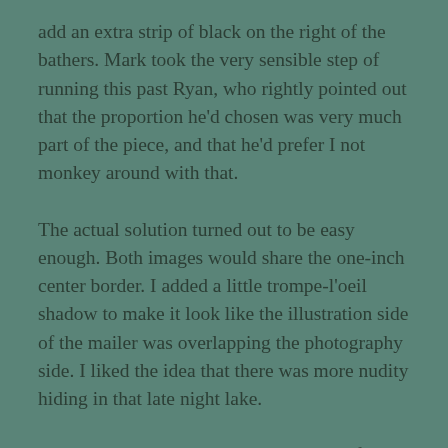add an extra strip of black on the right of the bathers. Mark took the very sensible step of running this past Ryan, who rightly pointed out that the proportion he'd chosen was very much part of the piece, and that he'd prefer I not monkey around with that.
The actual solution turned out to be easy enough. Both images would share the one-inch center border. I added a little trompe-l'oeil shadow to make it look like the illustration side of the mailer was overlapping the photography side. I liked the idea that there was more nudity hiding in that late night lake.
I've been an illustration groupie all my life, but working with Mark Heflin on these projects gave me a whole new insight into the field. I look at both